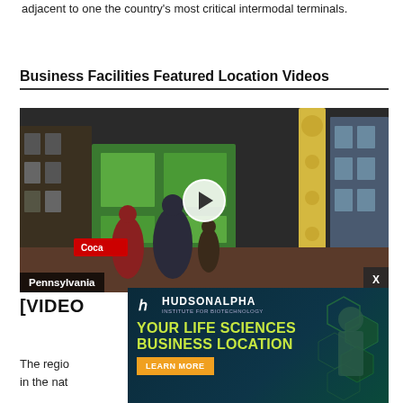adjacent to one the country's most critical intermodal terminals.
Business Facilities Featured Location Videos
[Figure (screenshot): Video thumbnail showing a street scene in Pennsylvania with people walking, colorful storefronts, a play button overlay, and a label reading 'Pennsylvania' with an X close button.]
[VIDEO
[Figure (infographic): HudsonAlpha Institute for Biotechnology advertisement with dark teal background, hexagonal green patterns, text 'YOUR LIFE SCIENCES BUSINESS LOCATION' in yellow-green, and an orange 'LEARN MORE' button.]
The regio… onomies in the nat… c cities